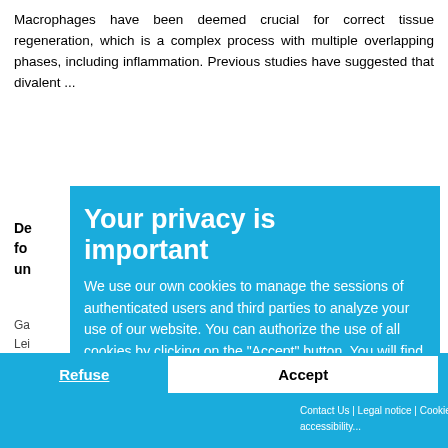Macrophages have been deemed crucial for correct tissue regeneration, which is a complex process with multiple overlapping phases, including inflammation. Previous studies have suggested that divalent ...
De...ents fo...it of a un...
Ga...; Tomedi Lei...escura Paim, Tai...ara (Scientia Me... Air...followed in a loc...the collected da...vant data for ...
Mo...
[Figure (screenshot): Privacy cookie consent overlay with blue background reading 'Your privacy is important' and body text about cookies policy, with Refuse and Accept buttons at the bottom.]
Contact Us | Legal notice | Cookies collaboration
accessibility...